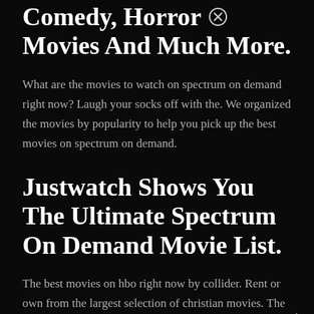Comedy, Horror Movies And Much More.
What are the movies to watch on spectrum on demand right now? Laugh your socks off with the. We organized the movies by popularity to help you pick up the best movies on spectrum on demand.
Justwatch Shows You The Ultimate Spectrum On Demand Movie List.
The best movies on hbo right now by collider. Rent or own from the largest selection of christian movies. The leading free streaming tv service in the us is now available in uk.